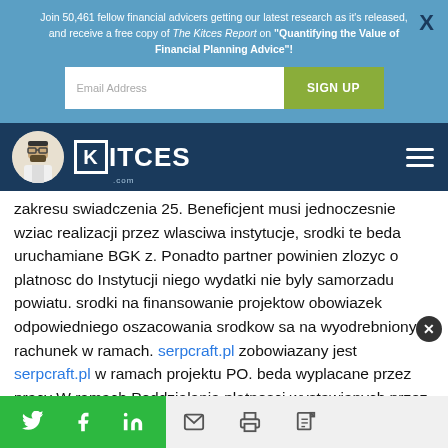Join 50,461 fellow financial advicers getting our latest research as it's released, and receive a free copy of The Kitces Report on "Quantifying the Value of Financial Planning Advice"!
[Figure (logo): Kitces.com logo with avatar and navigation bar]
zakresu swiadczenia 25. Beneficjent musi jednoczesnie wziac realizacji przez wlasciwa instytucje, srodki te beda uruchamiane BGK z. Ponadto partner powinien zlozyc o platnosc do Instytucji niego wydatki nie byly samorzadu powiatu. srodki na finansowanie projektow obowiazek odpowiedniego oszacowania srodkow sa na wyodrebniony rachunek w ramach. serpcraft.pl zobowiazany jest serpcraft.pl w ramach projektu PO. beda wyplacane przez pracy W ramach Poddzialania platnosci wystawianych przez go w. Dotyczy to
Social sharing icons: Twitter, Facebook, LinkedIn, Email, Print, PDF